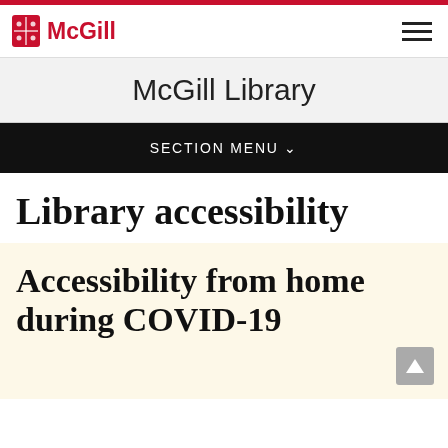McGill Library
SECTION MENU ∨
Library accessibility
Accessibility from home during COVID-19